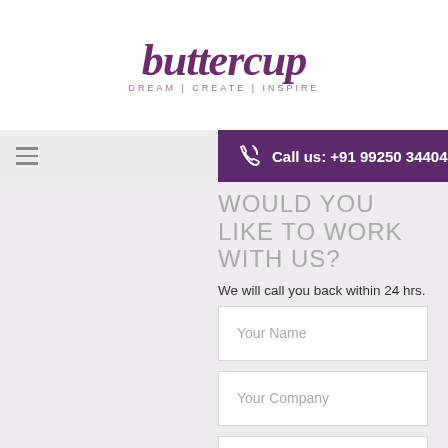[Figure (logo): Buttercup logo with text 'DREAM | CREATE | INSPIRE' in purple]
Call us: +91 99250 34404
WOULD YOU LIKE TO WORK WITH US?
We will call you back within 24 hrs.
Your Name
Your Company
Your Email
Your Phone